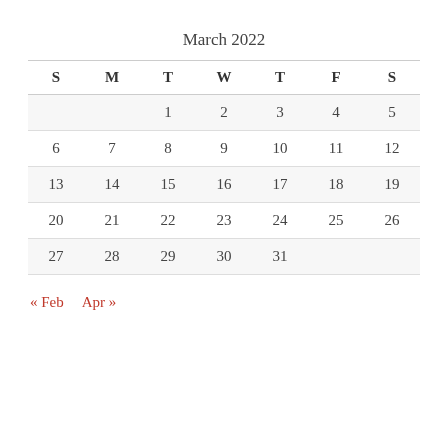March 2022
| S | M | T | W | T | F | S |
| --- | --- | --- | --- | --- | --- | --- |
|  |  | 1 | 2 | 3 | 4 | 5 |
| 6 | 7 | 8 | 9 | 10 | 11 | 12 |
| 13 | 14 | 15 | 16 | 17 | 18 | 19 |
| 20 | 21 | 22 | 23 | 24 | 25 | 26 |
| 27 | 28 | 29 | 30 | 31 |  |  |
« Feb   Apr »